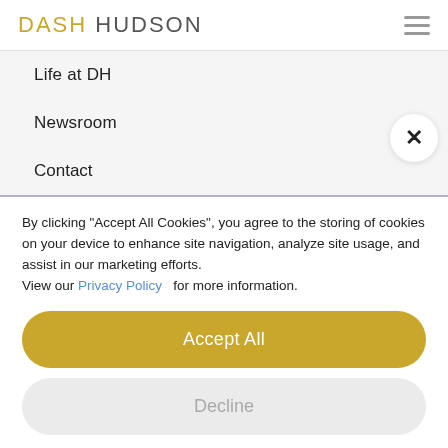DASH HUDSON
Life at DH
Newsroom
Contact
By clicking "Accept All Cookies", you agree to the storing of cookies on your device to enhance site navigation, analyze site usage, and assist in our marketing efforts.
View our Privacy Policy  for more information.
Accept All
Decline
Preferences